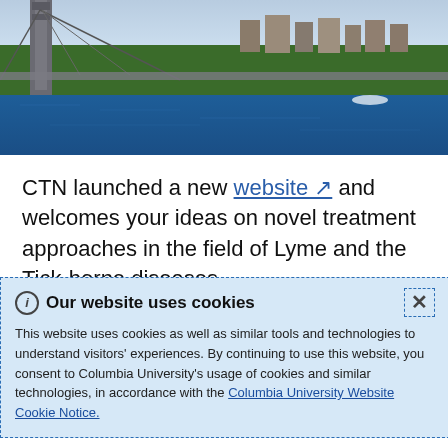[Figure (photo): Aerial photo of a bridge over a river with a city skyline and green trees in the background — likely the George Washington Bridge over the Hudson River.]
CTN launched a new website ↗ and welcomes your ideas on novel treatment approaches in the field of Lyme and the Tick-borne diseases.
In recognition of a severe unmet need, the Steven & Alexandra Cohen Foundation's grant to Columbia University Investigators establishes the first National Clinical Trials Network Coordinating Center for Lyme and other Tick-borne Diseases. Under the leadership of Dr. Brian Fallon, this Clinical Trials Coordinating Center aims to propel national research toward the
Our website uses cookies
This website uses cookies as well as similar tools and technologies to understand visitors' experiences. By continuing to use this website, you consent to Columbia University's usage of cookies and similar technologies, in accordance with the Columbia University Website Cookie Notice.